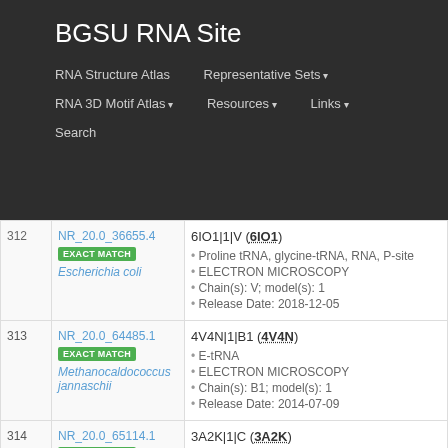BGSU RNA Site
RNA Structure Atlas | Representative Sets ▾ | RNA 3D Motif Atlas ▾ | Resources ▾ | Links ▾ | Search
| # | ID / Match / Species | Entry Details |
| --- | --- | --- |
| 312 | NR_20.0_36655.4 | EXACT MATCH | Escherichia coli | 6IO1|1|V (6IO1) • Proline tRNA, glycine-tRNA, RNA, P-site • ELECTRON MICROSCOPY • Chain(s): V; model(s): 1 • Release Date: 2018-12-05 |
| 313 | NR_20.0_64485.1 | EXACT MATCH | Methanocaldococcus jannaschii | 4V4N|1|B1 (4V4N) • E-tRNA • ELECTRON MICROSCOPY • Chain(s): B1; model(s): 1 • Release Date: 2014-07-09 |
| 314 | NR_20.0_65114.1 | EXACT MATCH | 3A2K|1|C (3A2K) • bacterial tRNA • X-RAY DIFFRACTION • Chain(s): C; model(s): 1 |